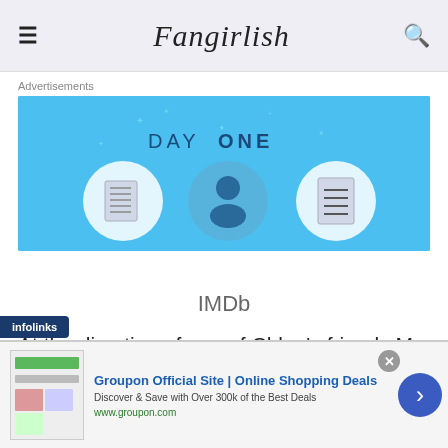Fangirlish
Advertisements
[Figure (illustration): Day One journal app advertisement banner with blue background showing app icons and text 'The only journal app you'll ever need']
IMDb
At the direction of one of Chloe’s friends Mr. Sweet (Andre De Shields), they realize Theo was sent to New
[Figure (screenshot): Infolinks ad overlay: Groupon Official Site | Online Shopping Deals - Discover & Save with Over 300k of the Best Deals - www.groupon.com]